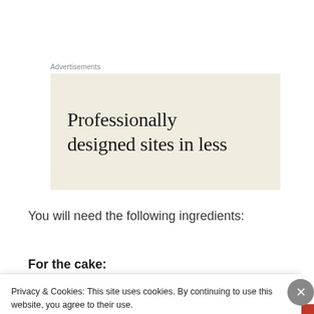Advertisements
[Figure (other): Advertisement banner with beige background showing text: Professionally designed sites in less]
You will need the following ingredients:
For the cake:
Privacy & Cookies: This site uses cookies. By continuing to use this website, you agree to their use.
To find out more, including how to control cookies, see here: Cookie Policy
Close and accept